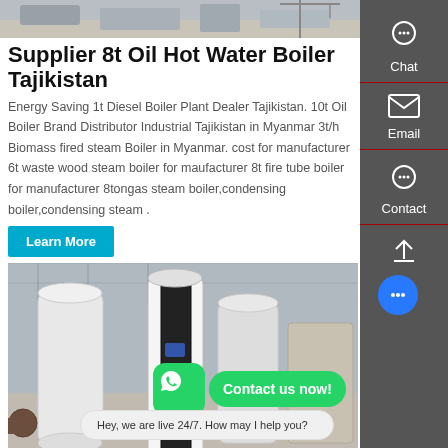[Figure (photo): Top banner photo of industrial boiler or equipment in a factory setting]
Supplier 8t Oil Hot Water Boiler Tajikistan
Energy Saving 1t Diesel Boiler Plant Dealer Tajikistan. 10t Oil Boiler Brand Distributor Industrial Tajikistan in Myanmar 3t/h Biomass fired steam Boiler in Myanmar. cost for manufacturer 6t waste wood steam boiler for maufacturer 8t fire tube boiler for manufacturer 8tongas steam boiler,condensing boiler,condensing steam .
[Figure (photo): Photo of large white cylindrical industrial hot water boilers in a warehouse/factory]
Industrial 10t Ukraine